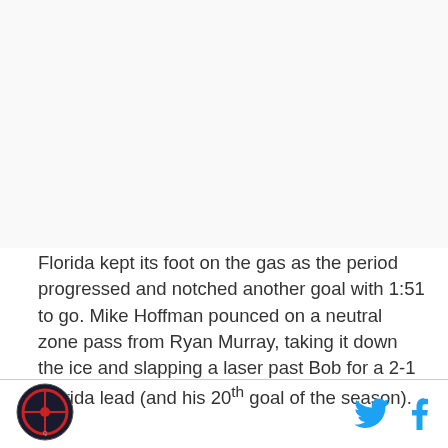[Figure (photo): Image placeholder at top of article page]
Florida kept its foot on the gas as the period progressed and notched another goal with 1:51 to go. Mike Hoffman pounced on a neutral zone pass from Ryan Murray, taking it down the ice and slapping a laser past Bob for a 2-1 Florida lead (and his 20th goal of the season).
[Figure (logo): Site logo circular icon on left of footer]
[Figure (illustration): Twitter and Facebook social media icons in footer]